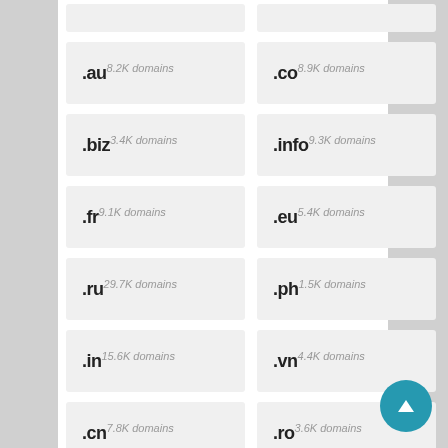.au 8.2K domains
.co 8.9K domains
.biz 3.4K domains
.info 9.3K domains
.fr 9.1K domains
.eu 5.4K domains
.ru 29.7K domains
.ph 1.5K domains
.in 15.6K domains
.vn 4.4K domains
.cn 7.8K domains
.ro 3.6K domains
.ch 2.5K domains
.at 2.4K domains
Browser All